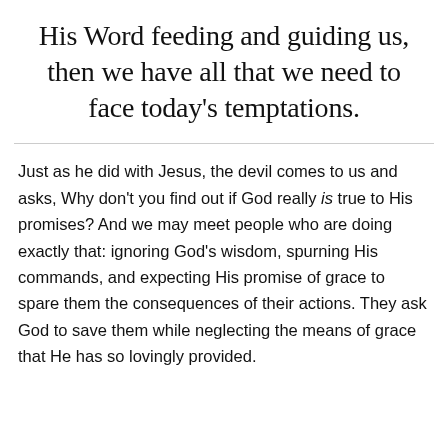His Word feeding and guiding us, then we have all that we need to face today's temptations.
Just as he did with Jesus, the devil comes to us and asks, Why don't you find out if God really is true to His promises? And we may meet people who are doing exactly that: ignoring God's wisdom, spurning His commands, and expecting His promise of grace to spare them the consequences of their actions. They ask God to save them while neglecting the means of grace that He has so lovingly provided.